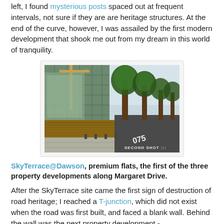left, I found mysterious posts spaced out at frequent intervals, not sure if they are are heritage structures. At the end of the curve, however, I was assailed by the first modern development that shook me out from my dream in this world of tranquility.
[Figure (photo): Photo of a construction site (SkyTerrace@Dawson) showing green scaffolding netting and a crane on the left, with trees along a road on the right. Watermark reads 'SECOND SHOT :::'.]
SkyTerrace@Dawson, premium flats, the first of the three property developments along Margaret Drive.
After the SkyTerrace site came the first sign of destruction of road heritage; I reached a T-junction, which did not exist when the road was first built, and faced a blank wall. Behind the wall was the next property development -